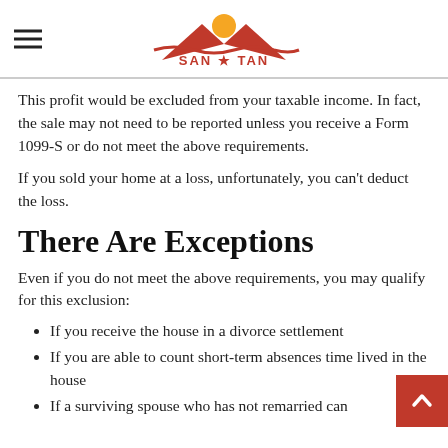SAN TAN PLANNING & INVESTMENTS
This profit would be excluded from your taxable income. In fact, the sale may not need to be reported unless you receive a Form 1099-S or do not meet the above requirements.
If you sold your home at a loss, unfortunately, you can't deduct the loss.
There Are Exceptions
Even if you do not meet the above requirements, you may qualify for this exclusion:
If you receive the house in a divorce settlement
If you are able to count short-term absences time lived in the house
If a surviving spouse who has not remarried can